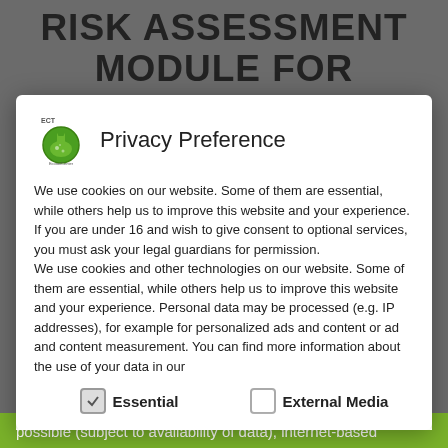RISK ASSESSMENT MODULE FOR BELOW-
INVESTIGATIONS
Privacy Preference
We use cookies on our website. Some of them are essential, while others help us to improve this website and your experience.
If you are under 16 and wish to give consent to optional services, you must ask your legal guardians for permission.
We use cookies and other technologies on our website. Some of them are essential, while others help us to improve this website and your experience. Personal data may be processed (e.g. IP addresses), for example for personalized ads and content or ad and content measurement. You can find more information about the use of your data in our
Essential
External Media
possible (subject to availability of data), internet-based